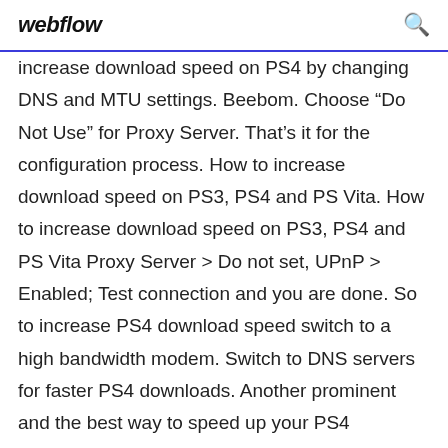webflow
increase download speed on PS4 by changing DNS and MTU settings. Beebom. Choose “Do Not Use” for Proxy Server. That’s it for the configuration process. How to increase download speed on PS3, PS4 and PS Vita. How to increase download speed on PS3, PS4 and PS Vita Proxy Server > Do not set, UPnP > Enabled; Test connection and you are done. So to increase PS4 download speed switch to a high bandwidth modem. Switch to DNS servers for faster PS4 downloads. Another prominent and the best way to speed up your PS4 download speed is to adjust the DNS settings of your gaming console. To switch to the DNS server you need to go through these steps: